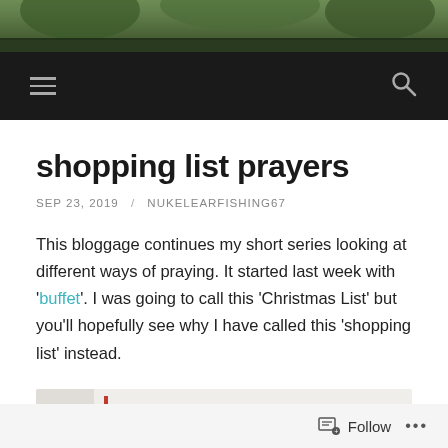[Figure (photo): Website header photo showing outdoor/nature scene with dark navigation bar containing hamburger menu and search icon]
shopping list prayers
SEP 23, 2019 / NUKELEARFISHING67
This bloggage continues my short series looking at different ways of praying. It started last week with 'buffet'. I was going to call this 'Christmas List' but you'll hopefully see why I have called this 'shopping list' instead.
[Figure (photo): Partial view of a 'SHOPPING LIST' graphic with red bold text on light background with red vertical bar on left side]
Follow ...